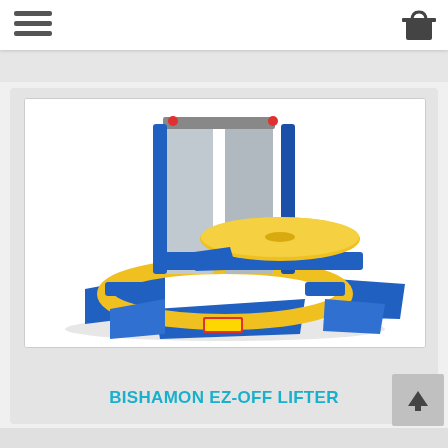Navigation bar with hamburger menu and cart icon
[Figure (photo): Bishamon EZ-Off Lifter industrial pallet stretch wrap machine with blue metal frame, yellow turntable platform, and blue ramp access panels]
BISHAMON EZ-OFF LIFTER